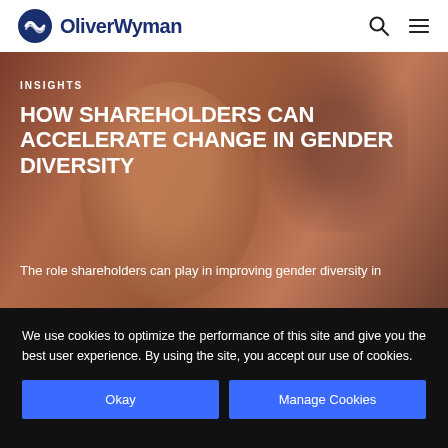OliverWyman
[Figure (photo): Sepia-toned background photo of a person with glasses, used as hero image background]
INSIGHTS
HOW SHAREHOLDERS CAN ACCELERATE CHANGE IN GENDER DIVERSITY
The role shareholders can play in improving gender diversity in
We use cookies to optimize the performance of this site and give you the best user experience. By using the site, you accept our use of cookies.
Okay
Manage Cookies